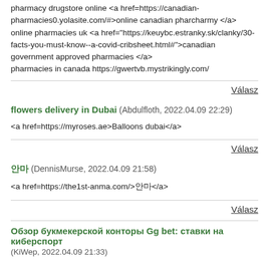pharmacy drugstore online <a href=https://canadian-pharmacies0.yolasite.com/#>online canadian pharcharmy </a> online pharmacies uk <a href="https://keuybc.estranky.sk/clanky/30-facts-you-must-know--a-covid-cribsheet.html#">canadian government approved pharmacies </a> pharmacies in canada https://gwertvb.mystrikingly.com/
Válasz
flowers delivery in Dubai (Abdulfloth, 2022.04.09 22:29)
<a href=https://myroses.ae>Balloons dubai</a>
Válasz
안마 (DennisMurse, 2022.04.09 21:58)
<a href=https://the1st-anma.com/>안마</a>
Válasz
Обзор букмекерской конторы Gg bet: ставки на киберспорт
(KiWep, 2022.04.09 21:33)